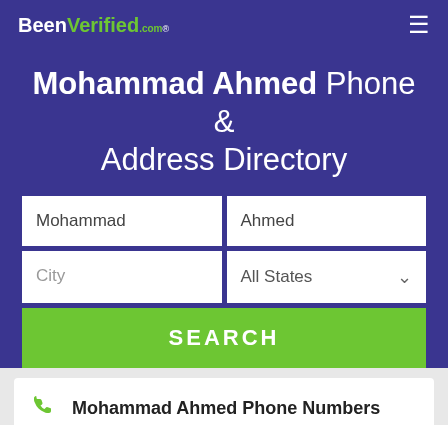BeenVerified.com
Mohammad Ahmed Phone & Address Directory
[Figure (screenshot): Search form with fields: Mohammad, Ahmed, City, All States dropdown, and SEARCH button]
Mohammad Ahmed Phone Numbers